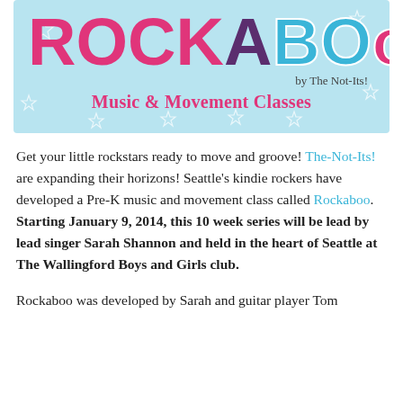[Figure (illustration): Rockaboo by The Not-Its! Music & Movement Classes banner with light blue background, star decorations, large colorful ROCKABOO text in pink/purple/teal, subtitle 'by The Not-Its!' and 'Music & Movement Classes' in pink bold text]
Get your little rockstars ready to move and groove! The-Not-Its! are expanding their horizons! Seattle's kindie rockers have developed a Pre-K music and movement class called Rockaboo. Starting January 9, 2014, this 10 week series will be lead by lead singer Sarah Shannon and held in the heart of Seattle at The Wallingford Boys and Girls club.
Rockaboo was developed by Sarah and guitar player Tom